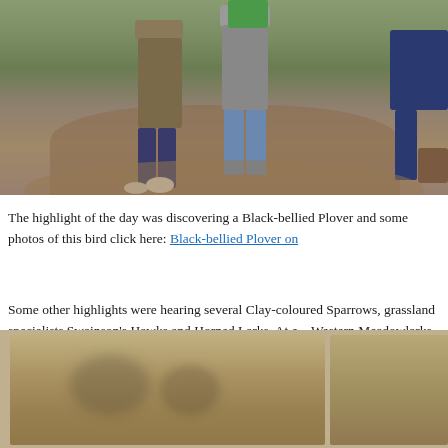[Figure (photo): Outdoor photograph showing people standing on a dirt path surrounded by green grassland vegetation, partially cropped showing lower bodies of multiple individuals]
The highlight of the day was discovering a Black-bellied Plover and some photos of this bird click here: Black-bellied Plover on...
Some other highlights were hearing several Clay-coloured Sparrows, grassland specialists Swainson's Hawks and Horned Larks. At e... Western Meadowlarks, Vesper Sparrows and Savannah Sparrows...
[Figure (photo): Two side-by-side photos at bottom of page showing birds on ground, blurry/out of focus images on dirt/gravel surface]